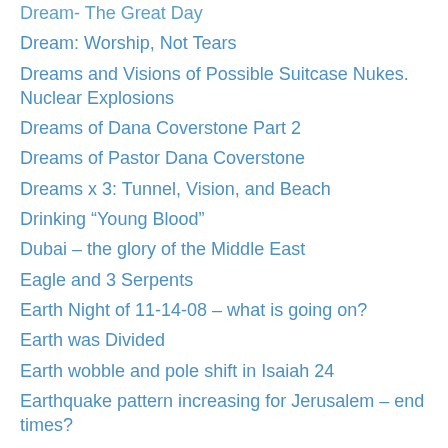Dream- The Great Day
Dream: Worship, Not Tears
Dreams and Visions of Possible Suitcase Nukes. Nuclear Explosions
Dreams of Dana Coverstone Part 2
Dreams of Pastor Dana Coverstone
Dreams x 3: Tunnel, Vision, and Beach
Drinking “Young Blood”
Dubai – the glory of the Middle East
Eagle and 3 Serpents
Earth Night of 11-14-08 – what is going on?
Earth was Divided
Earth wobble and pole shift in Isaiah 24
Earthquake pattern increasing for Jerusalem – end times?
Earthquakes increase in end times.
Earthquakes increasing (2)
East Coast of America Fault Line
Ebola Virus Information
Economic Long Wave Forecasts and the Antichrist
Effect of Sound on Matter
El Nino and Pop Up Storms for 2009-2010